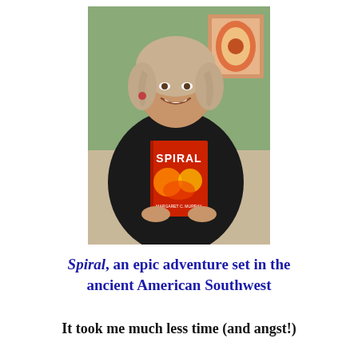[Figure (photo): A smiling woman with shoulder-length blonde/grey hair holding up a book titled 'Spiral' by Margaret C. Murray. The book has a red cover with decorative imagery. She is wearing a dark top and is photographed in what appears to be a restaurant or café setting.]
Spiral, an epic adventure set in the ancient American Southwest
It took me much less time (and angst!)